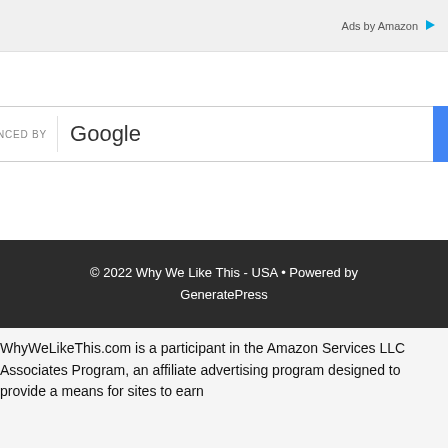Ads by Amazon
[Figure (screenshot): Enhanced by Google search bar with blue search button]
© 2022 Why We Like This - USA • Powered by GeneratePress
WhyWeLikeThis.com is a participant in the Amazon Services LLC Associates Program, an affiliate advertising program designed to provide a means for sites to earn